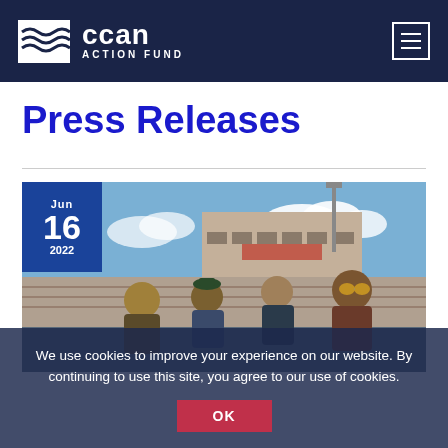CCAN ACTION FUND
Press Releases
[Figure (photo): Photo of four young men sitting in bleachers outside a stadium, with a blue date box overlay showing Jun 16 2022]
We use cookies to improve your experience on our website. By continuing to use this site, you agree to our use of cookies.
OK